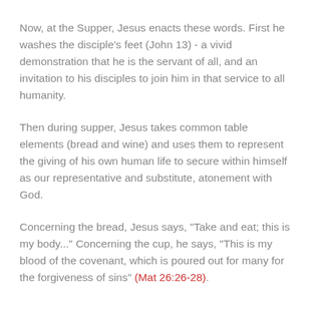Now, at the Supper, Jesus enacts these words. First he washes the disciple's feet (John 13) - a vivid demonstration that he is the servant of all, and an invitation to his disciples to join him in that service to all humanity.
Then during supper, Jesus takes common table elements (bread and wine) and uses them to represent the giving of his own human life to secure within himself as our representative and substitute, atonement with God.
Concerning the bread, Jesus says, "Take and eat; this is my body..." Concerning the cup, he says, "This is my blood of the covenant, which is poured out for many for the forgiveness of sins" (Mat 26:26-28).